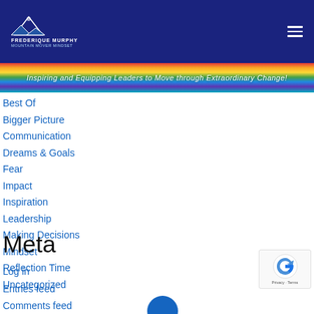Frederique Murphy - Mountain Mover Mindset - Inspiring and Equipping Leaders to Move through Extraordinary Change!
Best Of
Bigger Picture
Communication
Dreams & Goals
Fear
Impact
Inspiration
Leadership
Making Decisions
Mindset
Reflection Time
Uncategorized
Meta
Log in
Entries feed
Comments feed
WordPress.org